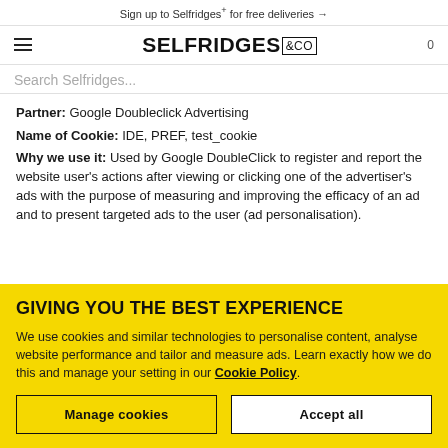Sign up to Selfridges+ for free deliveries →
[Figure (logo): Selfridges & Co logo with hamburger menu icon on left and cart count on right]
Search Selfridges...
Partner: Google Doubleclick Advertising
Name of Cookie: IDE, PREF, test_cookie
Why we use it: Used by Google DoubleClick to register and report the website user's actions after viewing or clicking one of the advertiser's ads with the purpose of measuring and improving the efficacy of an ad and to present targeted ads to the user (ad personalisation).
GIVING YOU THE BEST EXPERIENCE
We use cookies and similar technologies to personalise content, analyse website performance and tailor and measure ads. Learn exactly how we do this and manage your setting in our Cookie Policy.
Manage cookies | Accept all